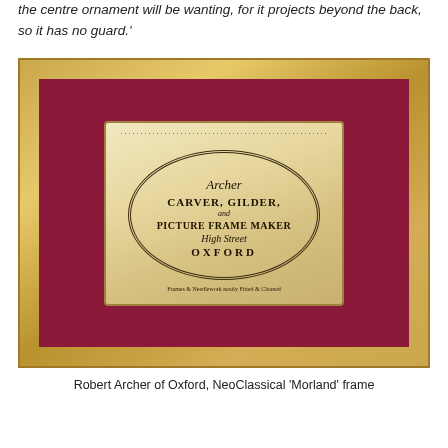the centre ornament will be wanting, for it projects beyond the back, so it has no guard.'
[Figure (photo): A NeoClassical gilt picture frame displayed frontally, containing a dark crimson/maroon mat. At the center of the mat sits an antique trade label for 'Archer, Carver, Gilder, and Picture Frame Maker, High Street, Oxford'. The label is oval-bordered, aged and worn, with ornate script lettering.]
Robert Archer of Oxford, NeoClassical 'Morland' frame